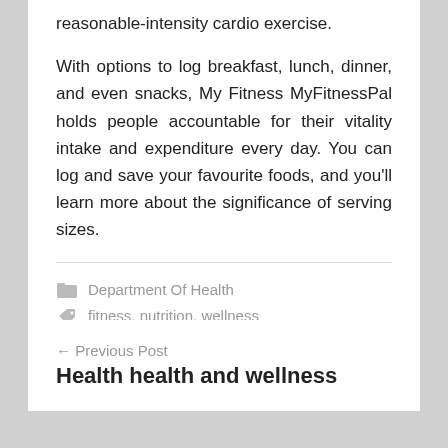reasonable-intensity cardio exercise.

With options to log breakfast, lunch, dinner, and even snacks, My Fitness MyFitnessPal holds people accountable for their vitality intake and expenditure every day. You can log and save your favourite foods, and you'll learn more about the significance of serving sizes.
Department Of Health
fitness, nutrition, wellness
← Previous Post
Health health and wellness